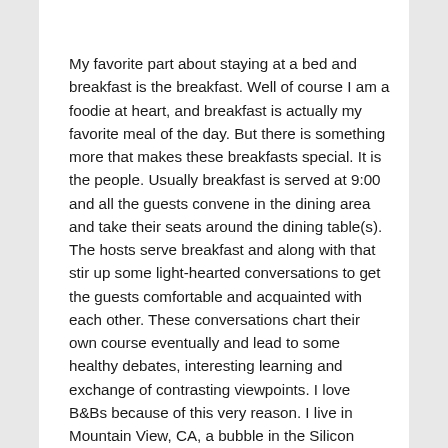My favorite part about staying at a bed and breakfast is the breakfast. Well of course I am a foodie at heart, and breakfast is actually my favorite meal of the day. But there is something more that makes these breakfasts special. It is the people. Usually breakfast is served at 9:00 and all the guests convene in the dining area and take their seats around the dining table(s). The hosts serve breakfast and along with that stir up some light-hearted conversations to get the guests comfortable and acquainted with each other. These conversations chart their own course eventually and lead to some healthy debates, interesting learning and exchange of contrasting viewpoints. I love B&Bs because of this very reason. I live in Mountain View, CA, a bubble in the Silicon Valley. All the people I meet, work with and dine with are like me. There is diversity in color, race and sex, but no diversity in viewpoints. I work in a tech firm and my friends do too. We all have similar viewpoints, issues and ideas of the world. And I love to step out of the bubble to see other flavors more ideas, the wider world, different viewpoints.